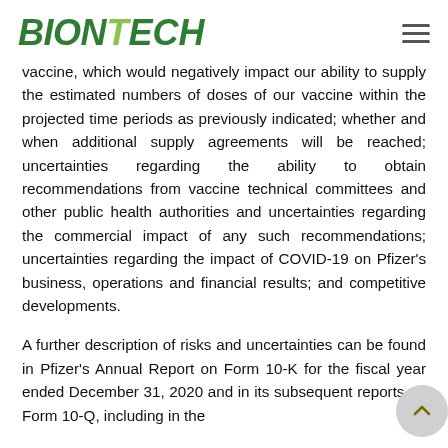BIONTECH
vaccine, which would negatively impact our ability to supply the estimated numbers of doses of our vaccine within the projected time periods as previously indicated; whether and when additional supply agreements will be reached; uncertainties regarding the ability to obtain recommendations from vaccine technical committees and other public health authorities and uncertainties regarding the commercial impact of any such recommendations; uncertainties regarding the impact of COVID-19 on Pfizer's business, operations and financial results; and competitive developments.
A further description of risks and uncertainties can be found in Pfizer's Annual Report on Form 10-K for the fiscal year ended December 31, 2020 and in its subsequent reports on Form 10-Q, including in the